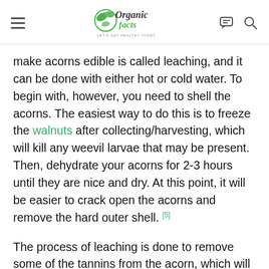Organic Facts — LET'S GET HEALTHY TOGETHER
make acorns edible is called leaching, and it can be done with either hot or cold water. To begin with, however, you need to shell the acorns. The easiest way to do this is to freeze the walnuts after collecting/harvesting, which will kill any weevil larvae that may be present. Then, dehydrate your acorns for 2-3 hours until they are nice and dry. At this point, it will be easier to crack open the acorns and remove the hard outer shell. [5]
The process of leaching is done to remove some of the tannins from the acorn, which will eliminate some of the bitter flavors, making them much more pleasant to eat. [6]